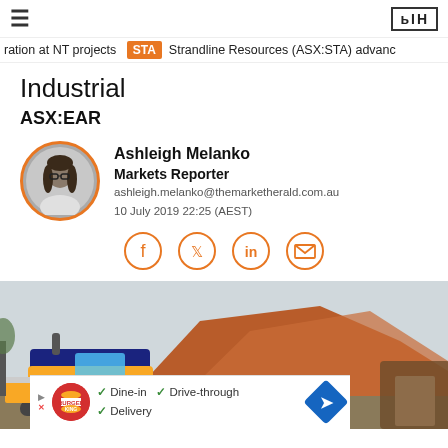≡  [The Market Herald logo]
ration at NT projects  STA  Strandline Resources (ASX:STA) advanc
Industrial
ASX:EAR
Ashleigh Melanko
Markets Reporter
ashleigh.melanko@themarketherald.com.au
10 July 2019 22:25 (AEST)
[Figure (illustration): Four social sharing icon circles (Facebook, Twitter, LinkedIn, Email) in orange outline style]
[Figure (photo): Yellow construction machinery (bulldozer/grader) in front of orange-red rock formation under grey sky, with advertisement overlay at bottom showing Burger King ad with Dine-in, Drive-through, Delivery options and navigation icon]